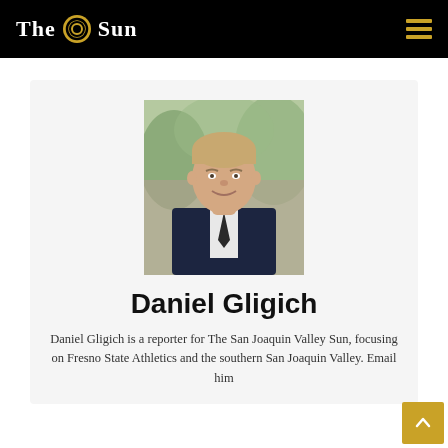The Sun
[Figure (photo): Headshot photo of Daniel Gligich, a man in a dark suit with a tie, smiling, with a blurred outdoor background.]
Daniel Gligich
Daniel Gligich is a reporter for The San Joaquin Valley Sun, focusing on Fresno State Athletics and the southern San Joaquin Valley. Email him